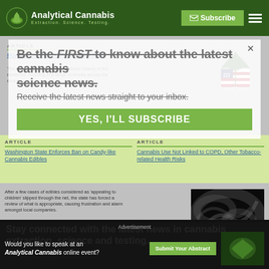Analytical Cannabis — Extraction. Science. Testing.
[Figure (screenshot): Analytical Cannabis website screenshot with newsletter popup overlay, article cards, and bottom advertisement bar]
Be the FIRST to know about the latest cannabis science news.
Receive the latest news straight to your inbox.
YES, I'LL SUBSCRIBE
ARTICLE
How did Cannabis do in the Midterms?
The legalization of cannabis featured heavily in the midterms, resulting in a range of results across the country.
ARTICLE
Washington State Enforces Ban on Candy-like Cannabis Edibles
After a few cases of edibles considered as 'appealing to children' slipped through the net, the state has forced a review of what is appropriate, causing frustration and alarm amongst local companies.
ARTICLE
Cannabis Use Not Linked to COPD, Other Tobacco-related Health Risks
Stay connected with the latest news in cannabis extraction, science and testing.
Advertisement
Would you like to speak at an Analytical Cannabis online event?
Submit Your Abstract